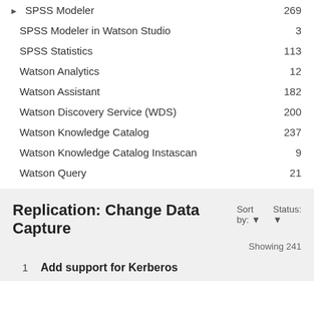SPSS Modeler — 269
SPSS Modeler in Watson Studio — 3
SPSS Statistics — 113
Watson Analytics — 12
Watson Assistant — 182
Watson Discovery Service (WDS) — 200
Watson Knowledge Catalog — 237
Watson Knowledge Catalog Instascan — 9
Watson Query — 21
Replication: Change Data Capture
Sort by: ▾   Status: ▾
Showing 241
1  Add support for Kerberos